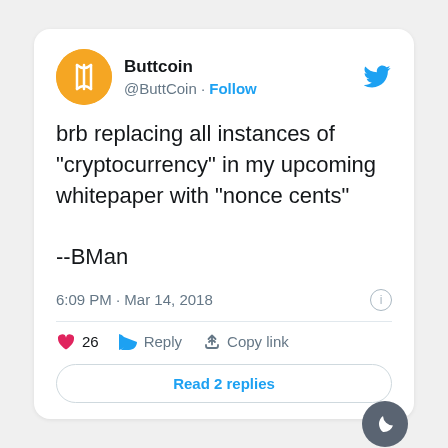[Figure (screenshot): Twitter/X screenshot of a tweet by Buttcoin (@ButtCoin) with Follow link, tweet text, timestamp, likes, reply, copy link actions, and Read 2 replies button]
brb replacing all instances of "cryptocurrency" in my upcoming whitepaper with "nonce cents"

--BMan
6:09 PM · Mar 14, 2018
26  Reply  Copy link
Read 2 replies